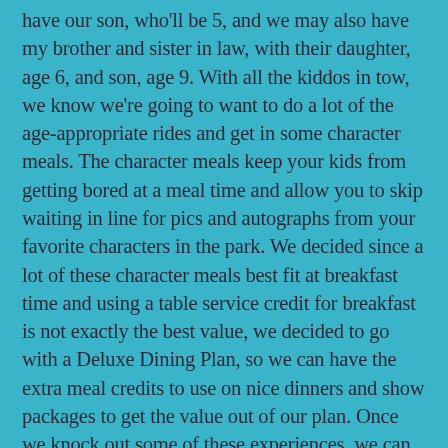have our son, who'll be 5, and we may also have my brother and sister in law, with their daughter, age 6, and son, age 9. With all the kiddos in tow, we know we're going to want to do a lot of the age-appropriate rides and get in some character meals. The character meals keep your kids from getting bored at a meal time and allow you to skip waiting in line for pics and autographs from your favorite characters in the park. We decided since a lot of these character meals best fit at breakfast time and using a table service credit for breakfast is not exactly the best value, we decided to go with a Deluxe Dining Plan, so we can have the extra meal credits to use on nice dinners and show packages to get the value out of our plan. Once we knock out some of these experiences, we can go out of pocket or on a more traditional dining plan on future trips. The makeup of your party also helps determine how many days you need to devote to each park. With kids in your party, I can almost guarantee that you're going to want to devote 2